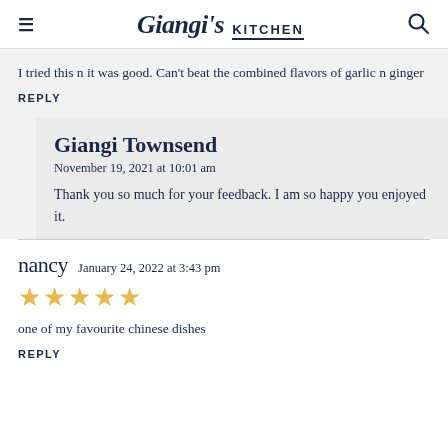Giangi's KITCHEN
I tried this n it was good. Can't beat the combined flavors of garlic n ginger
REPLY
Giangi Townsend
November 19, 2021 at 10:01 am
Thank you so much for your feedback. I am so happy you enjoyed it.
nancy  January 24, 2022 at 3:43 pm
[Figure (other): 5 gold stars rating]
one of my favourite chinese dishes
REPLY